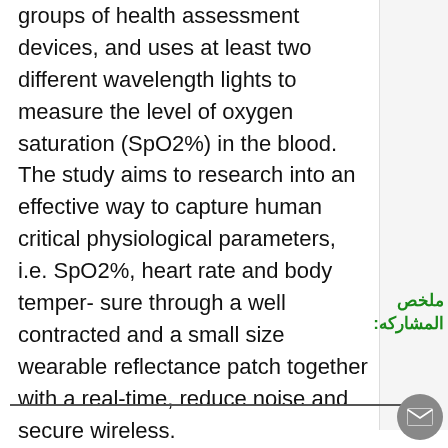groups of health assessment devices, and uses at least two different wavelength lights to measure the level of oxygen saturation (SpO2%) in the blood. The study aims to research into an effective way to capture human critical physiological parameters, i.e. SpO2%, heart rate and body temper- sure through a well contracted and a small size wearable reflectance patch together with a real-time, reduce noise and secure wireless.
ملخص المشاركه: